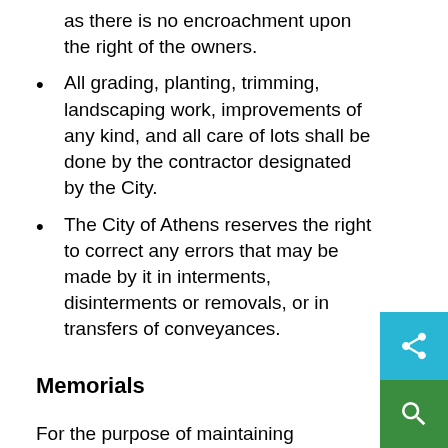as there is no encroachment upon the right of the owners.
All grading, planting, trimming, landscaping work, improvements of any kind, and all care of lots shall be done by the contractor designated by the City.
The City of Athens reserves the right to correct any errors that may be made by it in interments, disinterments or removals, or in transfers of conveyances.
Memorials
For the purpose of maintaining uniformity of quality and appearance, the marking of lots or burial spaces is limited to flat markers set flush